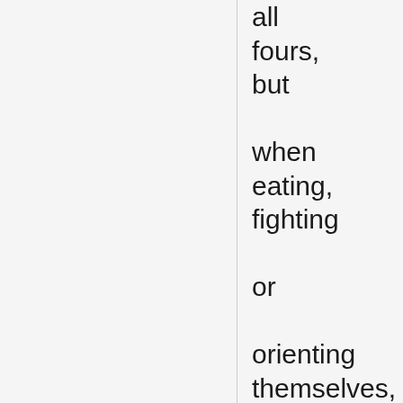all fours, but when eating, fighting or orienting themselves, they stand only on the hind legs,